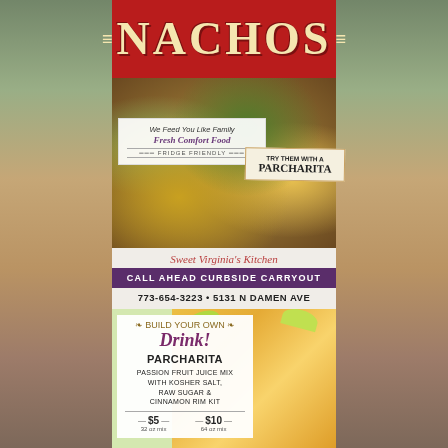NACHOS
[Figure (photo): Photo of loaded nachos with fresh toppings including cilantro, sour cream, tomatoes, cheese on chips]
We Feed You Like Family
Fresh Comfort Food
=== FRIDGE FRIENDLY ===
TRY THEM WITH A PARCHARITA
Sweet Virginia's Kitchen
CALL AHEAD CURBSIDE CARRYOUT
773-654-3223 • 5131 N DAMEN AVE
[Figure (photo): Photo of two mason jar drinks (Parcharita) with lime slices and sugared rims, golden/orange colored drink]
BUILD YOUR OWN
Drink!
PARCHARITA
PASSION FRUIT JUICE MIX WITH KOSHER SALT, RAW SUGAR & CINNAMON RIM KIT
— $5 — $10 —
32 oz mix     64 oz mix